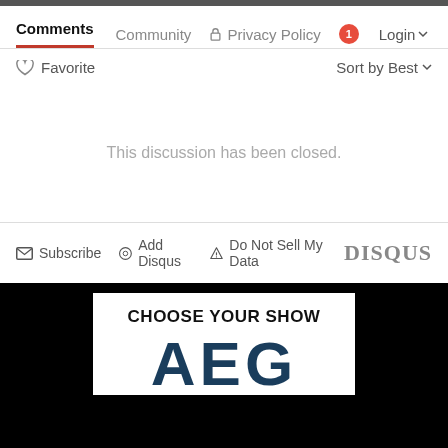Comments  Community  Privacy Policy  1  Login
♡ Favorite    Sort by Best
This discussion has been closed.
Subscribe  Add Disqus  Do Not Sell My Data  DISQUS
[Figure (screenshot): Black background advertisement area showing 'CHOOSE YOUR SHOW' with large AEG letters in dark blue below]
CHOOSE YOUR SHOW
AEG